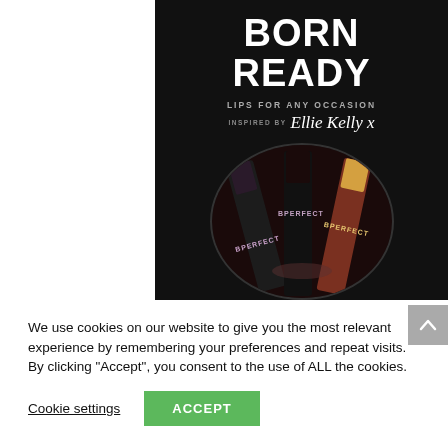[Figure (photo): BPerfect cosmetics 'Born Ready - Lips For Any Occasion' product image on black background, inspired by Ellie Kelly. Shows circular close-up of multiple lip products (lipsticks/lip glosses) branded BPERFECT.]
We use cookies on our website to give you the most relevant experience by remembering your preferences and repeat visits. By clicking “Accept”, you consent to the use of ALL the cookies.
Cookie settings
ACCEPT